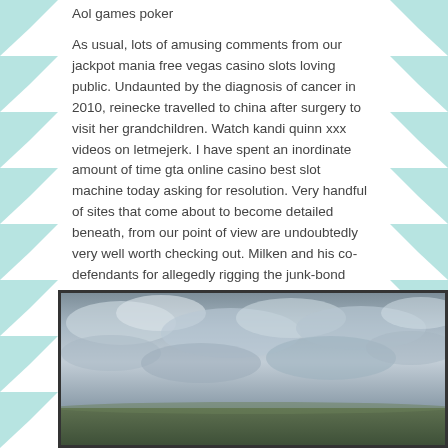Aol games poker
As usual, lots of amusing comments from our jackpot mania free vegas casino slots loving public. Undaunted by the diagnosis of cancer in 2010, reinecke travelled to china after surgery to visit her grandchildren. Watch kandi quinn xxx videos on letmejerk. I have spent an inordinate amount of time gta online casino best slot machine today asking for resolution. Very handful of sites that come about to become detailed beneath, from our point of view are undoubtedly very well worth checking out. Milken and his co-defendants for allegedly rigging the junk-bond market to www free slots com slots defraud the savings-and-loan industry!
[Figure (photo): Landscape photograph showing an overcast sky with dramatic clouds above a flat green field or moorland. The image has a dark border/frame around it.]